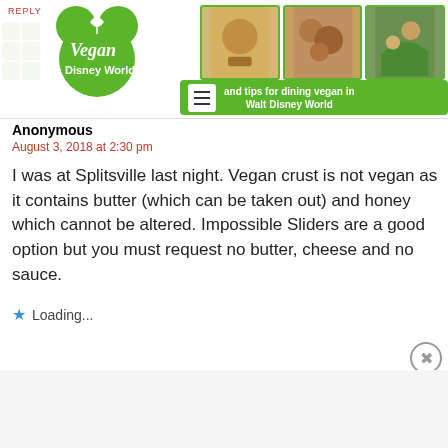[Figure (logo): Vegan Disney World logo — green Mickey Mouse silhouette with leaf, text 'Vegan Disney World', food photos strip, green tagline bar reading 'and tips for dining vegan in Walt Disney World']
Anonymous
August 3, 2018 at 2:30 pm
I was at Splitsville last night. Vegan crust is not vegan as it contains butter (which can be taken out) and honey which cannot be altered. Impossible Sliders are a good option but you must request no butter, cheese and no sauce.
Loading...
[Figure (screenshot): Victoria's Secret advertisement banner: model photo, VS logo, 'SHOP THE COLLECTION', 'SHOP NOW' button]